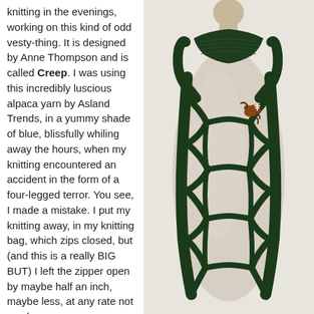knitting in the evenings, working on this kind of odd vesty-thing. It is designed by Anne Thompson and is called Creep. I was using this incredibly luscious alpaca yarn by Asland Trends, in a yummy shade of blue, blissfully whiling away the hours, when my knitting encountered an accident in the form of a four-legged terror. You see, I made a mistake. I put my knitting away, in my knitting bag, which zips closed, but (and this is a really BIG BUT) I left the zipper open by maybe half an inch, maybe less, at any rate not much.
[Figure (photo): A dark green knitted vest/garment with decorative open lacework strands displayed on a white dress form/mannequin. The garment has a collar area at the top and long vine-like knitted strands hanging down. A small decorative frog pin is visible on the garment.]